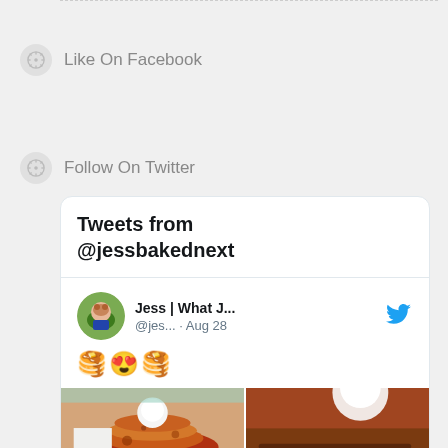Like On Facebook
Follow On Twitter
[Figure (screenshot): Twitter widget showing 'Tweets from @jessbakednext' with a tweet by 'Jess | What J...' (@jes...) from Aug 28, containing emoji (pancakes, heart-eyes, pancakes) and food photos showing dessert dishes with chocolate and cream.]